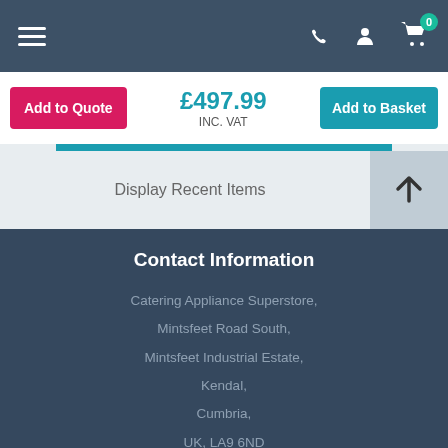[Figure (screenshot): Navigation bar with hamburger menu, phone icon, user icon, and shopping cart with badge showing 0]
£497.99 INC. VAT
Add to Quote
Add to Basket
Display Recent Items
Contact Information
Catering Appliance Superstore,
Mintsfeet Road South,
Mintsfeet Industrial Estate,
Kendal,
Cumbria,
UK, LA9 6ND
T: +44 (0)1539 760 650